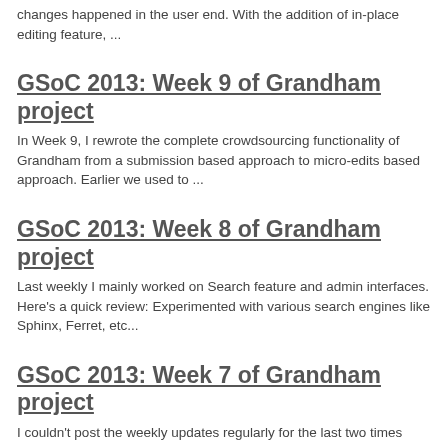changes happened in the user end. With the addition of in-place editing feature, ...
GSoC 2013: Week 9 of Grandham project
In Week 9, I rewrote the complete crowdsourcing functionality of Grandham from a submission based approach to micro-edits based approach. Earlier we used to ...
GSoC 2013: Week 8 of Grandham project
Last weekly I mainly worked on Search feature and admin interfaces. Here's a quick review: Experimented with various search engines like Sphinx, Ferret, etc...
GSoC 2013: Week 7 of Grandham project
I couldn't post the weekly updates regularly for the last two times since I was kept more busy than I had expected and the festive holiday that came in betwe...
GSoC 2013: Week 6 of Grandham project